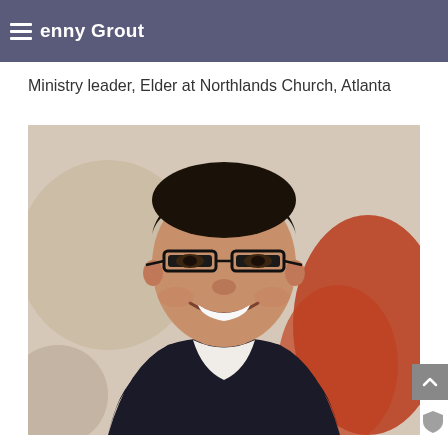Benny Grout
Ministry leader, Elder at Northlands Church, Atlanta
[Figure (photo): Portrait photo of a smiling man with glasses wearing a dark suit jacket over a light shirt, with a blurred reddish-orange and light background]